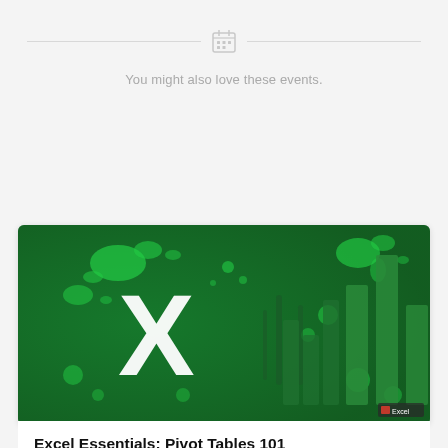[Figure (illustration): Calendar icon centered between two horizontal divider lines]
You might also love these events.
[Figure (photo): Dark green background banner image with a large white X letter and green paint splatter effects, bar chart silhouettes visible on the right side, small Excel badge in bottom right corner]
Excel Essentials: Pivot Tables 101